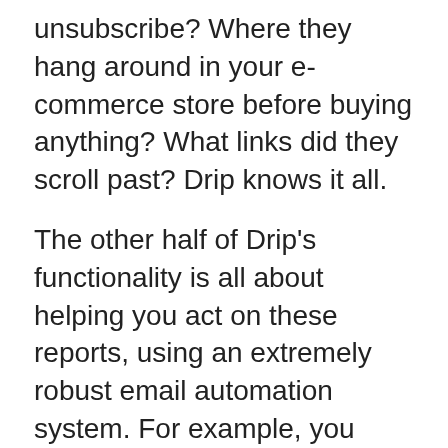unsubscribe? Where they hang around in your e-commerce store before buying anything? What links did they scroll past? Drip knows it all.
The other half of Drip's functionality is all about helping you act on these reports, using an extremely robust email automation system. For example, you could have different emails sent at particular trigger times to business owners who clicked through your landing page, individuals who opted into mailings on the first click leads who visit often but don't buy anything, and so on. This is all organized by means of an intuitive visual interface.
Pros